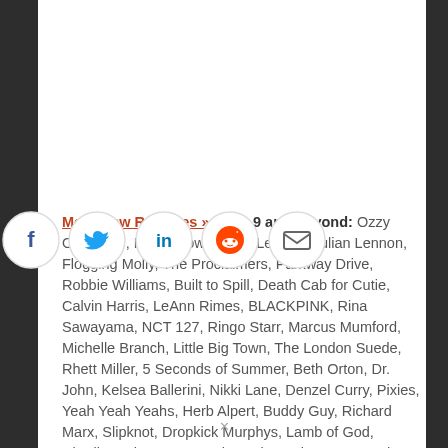More New Releases » Sept. 9 and Beyond: Ozzy Osbourne, Kane Brown, John Legend, Julian Lennon, Flogging Molly, The Proclaimers, Parkway Drive, Robbie Williams, Built to Spill, Death Cab for Cutie, Calvin Harris, LeAnn Rimes, BLACKPINK, Rina Sawayama, NCT 127, Ringo Starr, Marcus Mumford, Michelle Branch, Little Big Town, The London Suede, Rhett Miller, 5 Seconds of Summer, Beth Orton, Dr. John, Kelsea Ballerini, Nikki Lane, Denzel Curry, Pixies, Yeah Yeah Yeahs, Herb Alpert, Buddy Guy, Richard Marx, Slipknot, Dropkick Murphys, Lamb of God, Charlie Puth, Ava Max, The Cult, Bush, Queensrÿche, Always, The 1975, Red Hot Chili Peppers, Backstreet Boys, Tove Lo, Brian Eno, Blue October, Alter Bridge, Lightning Seeds, Carly Rae Jepsen, a-ha, Simple Minds, Meghan Trainor, The